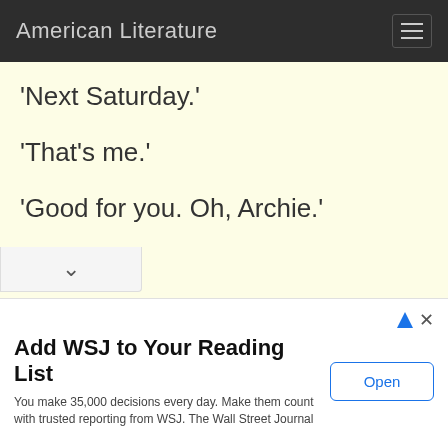American Literature
'Next Saturday.'
'That's me.'
'Good for you. Oh, Archie.'
'Hello?'
'A man I met today told me you were engaged. Is that a fact?'
'Sure,' murmured Archibald, blushfully.
Add WSJ to Your Reading List
You make 35,000 decisions every day. Make them count with trusted reporting from WSJ. The Wall Street Journal